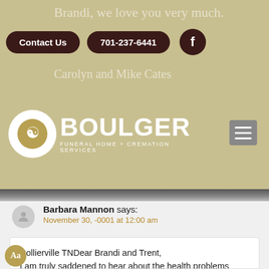[Figure (screenshot): Boulger Funeral Home website screenshot showing navigation bar with Contact Us button, phone number 701-237-6441, Facebook icon, Boulger Funeral Home + Cremation Services logo, and hamburger menu. Behind the nav bar, faded text reads: Brandi, we love you very much. / Carolyn and Mike Cates.]
Barbara Mannon says:
November 30, -0001 at 12:00 am
Collierville TNDear Brandi and Trent, I am truly saddened to hear about the health problems Gauge had to endure here on earth. My belief is that he has gone to our Great Physician and is healed of all his infirmities. I can only imagine what you as a family have gone through. The heart break you are experiencing is tremendous, I'm sure, but the trust in God you have shown will give